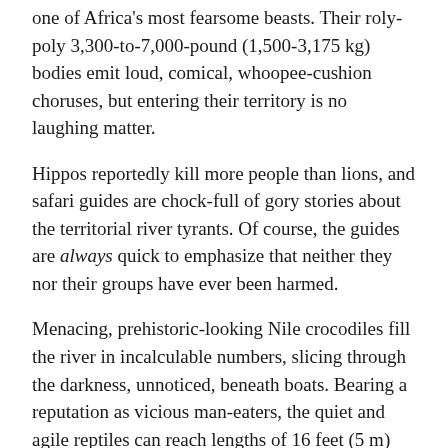one of Africa's most fearsome beasts. Their roly-poly 3,300-to-7,000-pound (1,500-3,175 kg) bodies emit loud, comical, whoopee-cushion choruses, but entering their territory is no laughing matter.
Hippos reportedly kill more people than lions, and safari guides are chock-full of gory stories about the territorial river tyrants. Of course, the guides are always quick to emphasize that neither they nor their groups have ever been harmed.
Menacing, prehistoric-looking Nile crocodiles fill the river in incalculable numbers, slicing through the darkness, unnoticed, beneath boats. Bearing a reputation as vicious man-eaters, the quiet and agile reptiles can reach lengths of 16 feet (5 m) and weigh up to 1,100 pounds (500 kg).
“They won’t bother us,” Grobler confidently assured us. “Just keep your bodies inside the boats.”